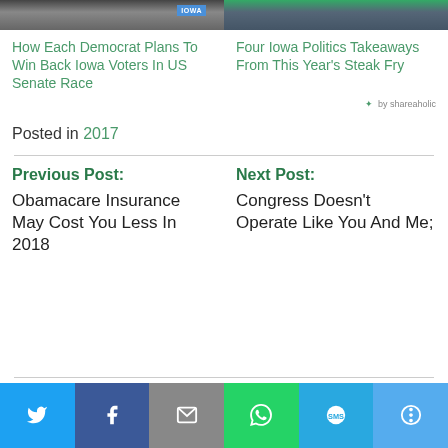[Figure (photo): Two cropped photo thumbnails at top. Left: people with Iowa sign. Right: people at outdoor event.]
How Each Democrat Plans To Win Back Iowa Voters In US Senate Race
Four Iowa Politics Takeaways From This Year's Steak Fry
by shareaholic
Posted in 2017
Previous Post:
Obamacare Insurance May Cost You Less In 2018
Next Post:
Congress Doesn't Operate Like You And Me;
[Figure (infographic): Social sharing bar with Twitter, Facebook, Email, WhatsApp, SMS, and More buttons]